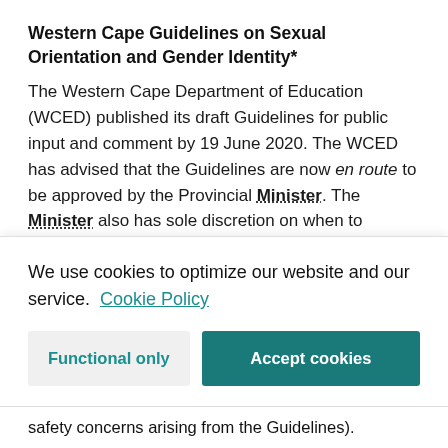Western Cape Guidelines on Sexual Orientation and Gender Identity*
The Western Cape Department of Education (WCED) published its draft Guidelines for public input and comment by 19 June 2020. The WCED has advised that the Guidelines are now en route to be approved by the Provincial Minister. The Minister also has sole discretion on when to
We use cookies to optimize our website and our service.  Cookie Policy
Functional only
Accept cookies
safety concerns arising from the Guidelines).